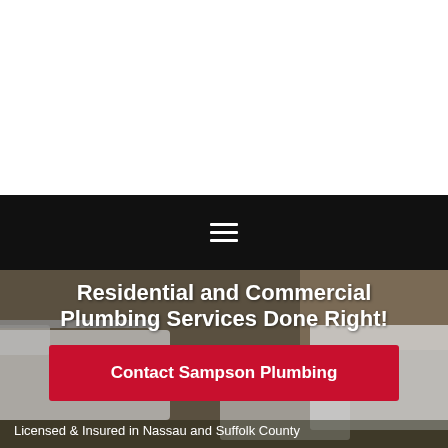[Figure (screenshot): White blank area at top of page, likely webpage header space]
☰
Residential and Commercial Plumbing Services Done Right!
Contact Sampson Plumbing
Licensed & Insured in Nassau and Suffolk County